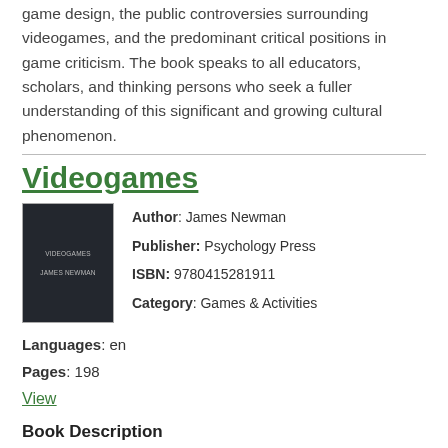game design, the public controversies surrounding videogames, and the predominant critical positions in game criticism. The book speaks to all educators, scholars, and thinking persons who seek a fuller understanding of this significant and growing cultural phenomenon.
Videogames
[Figure (photo): Book cover of Videogames by James Newman, dark navy/charcoal cover with title text]
Author: James Newman
Publisher: Psychology Press
ISBN: 9780415281911
Category: Games & Activities
Languages: en
Pages: 198
View
Book Description